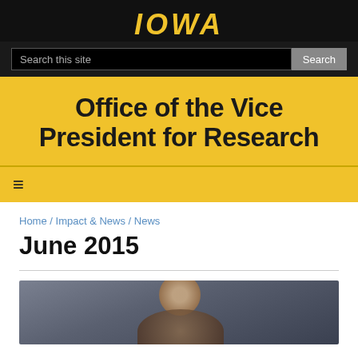IOWA
Search this site
Office of the Vice President for Research
≡
Home / Impact & News / News
June 2015
[Figure (photo): Portrait photo of a person, partially visible at bottom of page, dark blurred background]